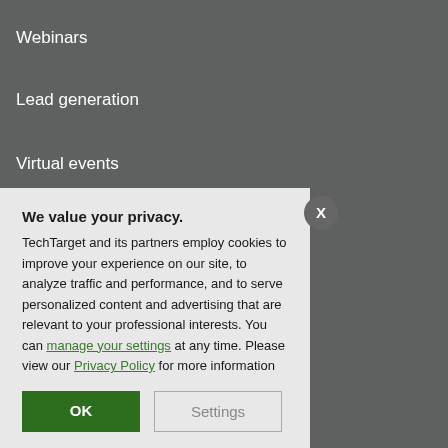Webinars
Lead generation
Virtual events
Request a demo
Company
[Figure (screenshot): Cookie consent modal dialog with close button (X), title 'We value your privacy.', body text about TechTarget cookies, links to 'manage your settings' and 'Privacy Policy', and two buttons: 'OK' (green filled) and 'Settings' (outlined).]